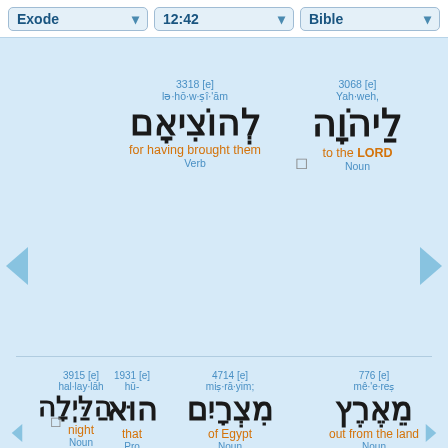Exode | 12:42 | Bible
3068 [e] Yah·weh, לַיהֹוָה to the LORD Noun
3318 [e] lə·hō·w·ṣî·'ām לְהוֹצִיאָם for having brought them Verb
776 [e] mê·'e·reṣ מֵאֶרֶץ out from the land Noun
4714 [e] miṣ·rā·yim; מִצְרָיִם of Egypt Noun
1931 [e] hū- הוּא that Pro
3915 [e] hal·lay·lāh הַלַּיְלָה night Noun